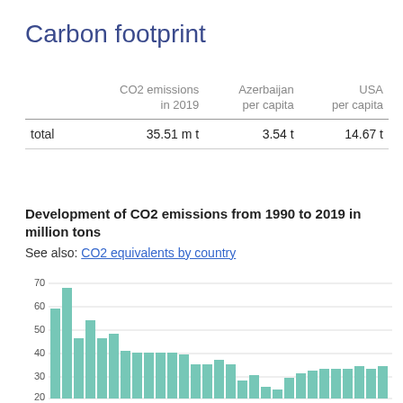Carbon footprint
|  | CO2 emissions in 2019 | Azerbaijan per capita | USA per capita |
| --- | --- | --- | --- |
| total | 35.51 m t | 3.54 t | 14.67 t |
Development of CO2 emissions from 1990 to 2019 in million tons
See also: CO2 equivalents by country
[Figure (bar-chart): Development of CO2 emissions from 1990 to 2019 in million tons]